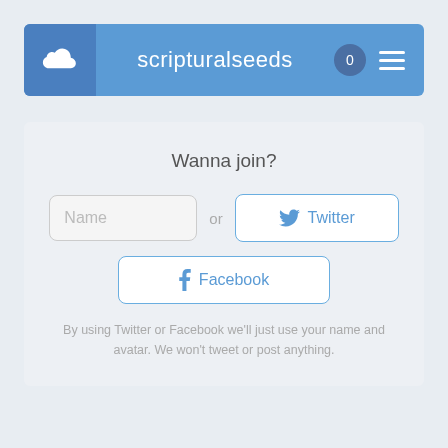scripturalseeds
Wanna join?
Name  or  Twitter  Facebook
By using Twitter or Facebook we'll just use your name and avatar. We won't tweet or post anything.